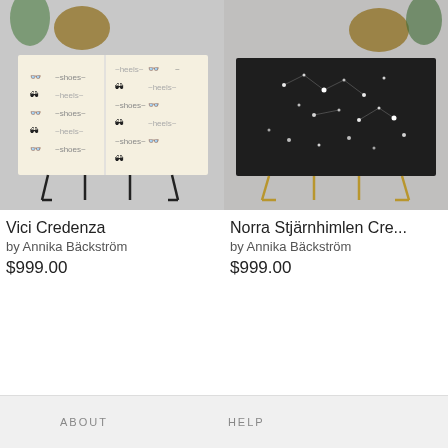[Figure (photo): Product photo of Vici Credenza — a credenza with a sunglasses and heels pattern print, with black hairpin legs, displayed on a gray background with plants on top]
Vici Credenza
by Annika Bäckström
$999.00
[Figure (photo): Product photo of Norra Stjärnhimlen Credenza — a credenza with a dark star map / constellation print, with gold hairpin legs, displayed on a gray background with plants on top]
Norra Stjärnhimlen Cre...
by Annika Bäckström
$999.00
ABOUT   HELP